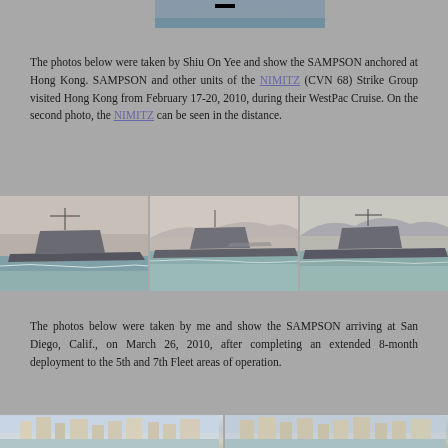[Figure (photo): Top partial photo of a ship or dock at water]
The photos below were taken by Shiu On Yee and show the SAMPSON anchored at Hong Kong. SAMPSON and other units of the NIMITZ (CVN 68) Strike Group visited Hong Kong from February 17-20, 2010, during their WestPac Cruise. On the second photo, the NIMITZ can be seen in the distance.
[Figure (photo): Three photos side by side showing the SAMPSON destroyer ship underway at sea near Hong Kong with mountains in the background]
The photos below were taken by me and show the SAMPSON arriving at San Diego, Calif., on March 26, 2010, after completing an extended 8-month deployment to the 5th and 7th Fleet areas of operation.
[Figure (photo): Partial bottom photos showing San Diego skyline with ships arriving]